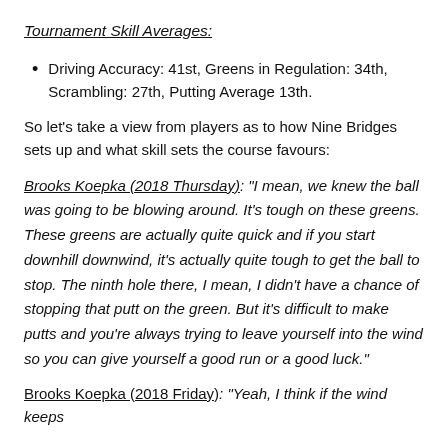Tournament Skill Averages:
Driving Accuracy: 41st, Greens in Regulation: 34th, Scrambling: 27th, Putting Average 13th.
So let's take a view from players as to how Nine Bridges sets up and what skill sets the course favours:
Brooks Koepka (2018 Thursday): "I mean, we knew the ball was going to be blowing around. It's tough on these greens. These greens are actually quite quick and if you start downhill downwind, it's actually quite tough to get the ball to stop. The ninth hole there, I mean, I didn't have a chance of stopping that putt on the green. But it's difficult to make putts and you're always trying to leave yourself into the wind so you can give yourself a good run or a good luck."
Brooks Koepka (2018 Friday): "Yeah, I think if the wind keeps